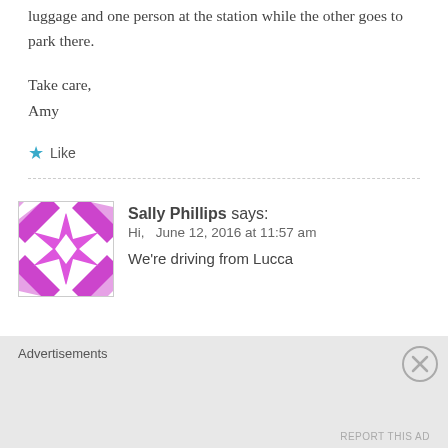luggage and one person at the station while the other goes to park there.
Take care,
Amy
★ Like
Sally Phillips says:
Hi,   June 12, 2016 at 11:57 am
We're driving from Lucca
[Figure (illustration): Purple and white geometric quilt-pattern avatar icon with star-like shapes]
Advertisements